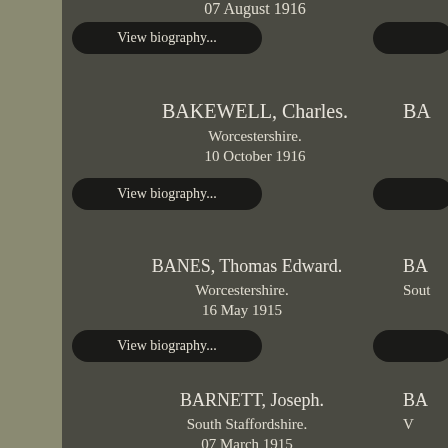07 August 1916
View biography...
BA (partial, right column)
BAKEWELL, Charles.
Worcestershire.
10 October 1916
View biography...
BA (partial, right column)
BANES, Thomas Edward.
Worcestershire.
16 May 1915
View biography...
BA (partial, right column)
Sout (partial, right column)
View biography... (partial, right column)
BARNETT, Joseph.
South Staffordshire.
07 March 1915
BA (partial, right column)
V (partial, right column)